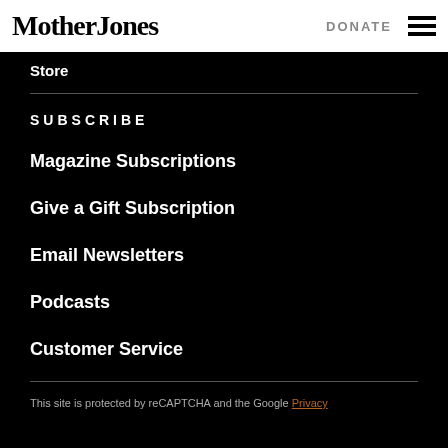Mother Jones | DONATE
Store
SUBSCRIBE
Magazine Subscriptions
Give a Gift Subscription
Email Newsletters
Podcasts
Customer Service
This site is protected by reCAPTCHA and the Google Privacy